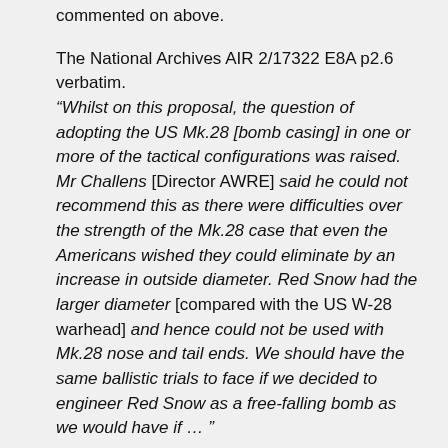commented on above.
The National Archives AIR 2/17322 E8A p2.6 verbatim.
“Whilst on this proposal, the question of adopting the US Mk.28 [bomb casing] in one or more of the tactical configurations was raised. Mr Challens [Director AWRE] said he could not recommend this as there were difficulties over the strength of the Mk.28 case that even the Americans wished they could eliminate by an increase in outside diameter. Red Snow had the larger diameter [compared with the US W-28 warhead] and hence could not be used with Mk.28 nose and tail ends. We should have the same ballistic trials to face if we decided to engineer Red Snow as a free-falling bomb as we would have if … ”
This is essentially the reason why Red Snow was not put into the existing British